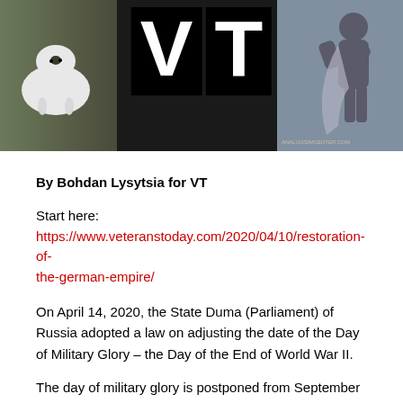[Figure (illustration): Banner image with dark background showing a cow on the left side, large black 'VT' letters in the center, and a warrior/knight figure on the right side.]
By Bohdan Lysytsia for VT
Start here: https://www.veteranstoday.com/2020/04/10/restoration-of-the-german-empire/
On April 14, 2020, the State Duma (Parliament) of Russia adopted a law on adjusting the date of the Day of Military Glory – the Day of the End of World War II.
The day of military glory is postponed from September 2 to 3. The document says that the presidium of the Supreme Soviet of the USSR in 1945 adopted the decree "On declaring